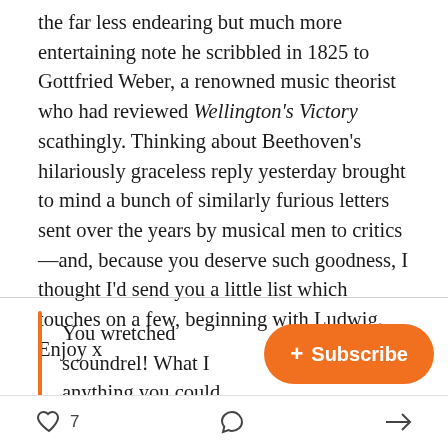the far less endearing but much more entertaining note he scribbled in 1825 to Gottfried Weber, a renowned music theorist who had reviewed Wellington's Victory scathingly. Thinking about Beethoven's hilariously graceless reply yesterday brought to mind a bunch of similarly furious letters sent over the years by musical men to critics—and, because you deserve such goodness, I thought I'd send you a little list which touches on a few, beginning with Ludwig. Enjoy x
You wretched scoundrel! What I … anything you could ever think up!
[Figure (other): Orange rounded rectangle Subscribe button with plus sign]
♡ 7   💬   ↗